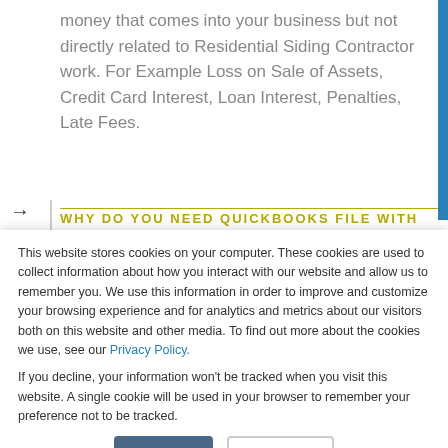money that comes into your business but not directly related to Residential Siding Contractor work. For Example Loss on Sale of Assets, Credit Card Interest, Loan Interest, Penalties, Late Fees.
WHY DO YOU NEED QUICKBOOKS FILE WITH
This website stores cookies on your computer. These cookies are used to collect information about how you interact with our website and allow us to remember you. We use this information in order to improve and customize your browsing experience and for analytics and metrics about our visitors both on this website and other media. To find out more about the cookies we use, see our Privacy Policy.

If you decline, your information won't be tracked when you visit this website. A single cookie will be used in your browser to remember your preference not to be tracked.